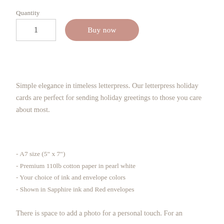Quantity
[Figure (screenshot): A quantity input box showing '1' and a pink rounded 'Buy now' button]
Simple elegance in timeless letterpress. Our letterpress holiday cards are perfect for sending holiday greetings to those you care about most.
- A7 size (5" x 7")
- Premium 110lb cotton paper in pearl white
- Your choice of ink and envelope colors
- Shown in Sapphire ink and Red envelopes
There is space to add a photo for a personal touch. For an